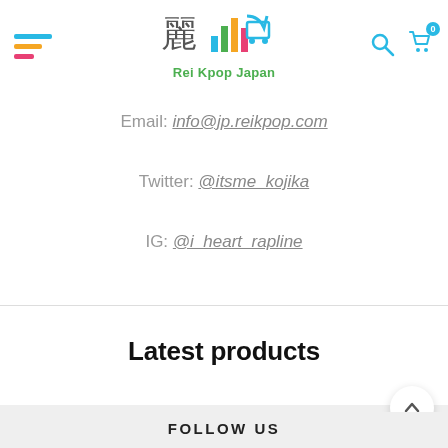Rei Kpop Japan
Email: info@jp.reikpop.com
Twitter: @itsme_kojika
IG: @i_heart_rapline
Latest products
FOLLOW US